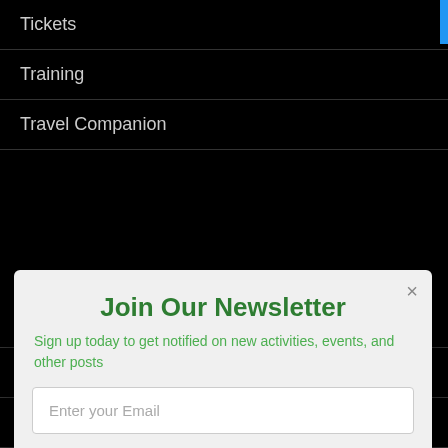Tickets
Training
Travel Companion
Join Our Newsletter
Sign up today to get notified on new activities, events, and other posts
Enter your Email
SUBSCRIBE NOW
Weekend Care
Wellness Retreat
Western Music